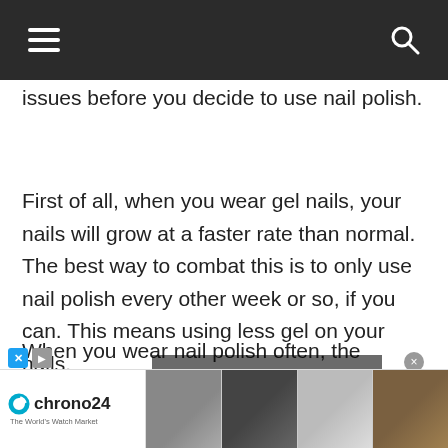≡  🔍
issues before you decide to use nail polish.
First of all, when you wear gel nails, your nails will grow at a faster rate than normal. The best way to combat this is to only use nail polish every other week or so, if you can. This means using less gel on your nails.
When you wear nail polish often, the growth process slows down, because
[Figure (screenshot): Video overlay showing 'No compatible source was found for this' message with close button]
[Figure (screenshot): Chrono24 advertisement banner showing watch marketplace with multiple watch images]